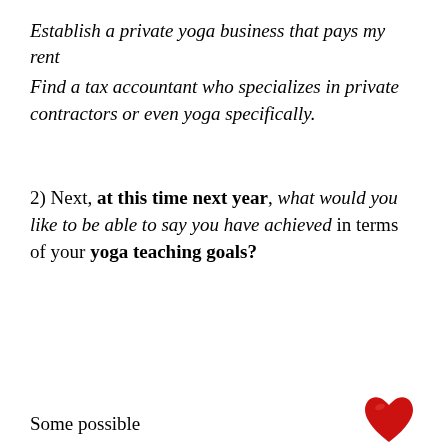Establish a private yoga business that pays my rent
Find a tax accountant who specializes in private contractors or even yoga specifically.
2) Next, at this time next year, what would you like to be able to say you have achieved in terms of your yoga teaching goals?
Some possible